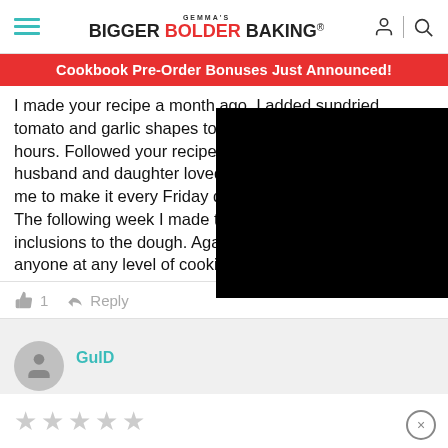Gemma's Bigger Bolder Baking
Cookbook Pre-Order Bonuses Just Announced!
I made your recipe a month ago. I added sundried tomato and garlic shapes to the dough. I proofed it for 36 hours. Followed your recipe and it came out perfect!!! My husband and daughter loved it so much that they asked me to make it every Friday during maple syrup season. The following week I made the dough, excluding the inclusions to the dough. Again, delicious! Great recipe for anyone at any level of cooking skills. Thanks.
1  Reply
GulD
[Figure (screenshot): Black video player overlay on the right side of the page]
[Figure (illustration): Five star rating icons (empty/grey stars) at the bottom of the page]